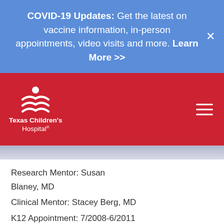COVID-19 Updates: Get the latest on vaccine information, in-person appointments, video visits and more. Learn More >>
[Figure (logo): Texas Children's Hospital logo with white icon and white text on red background, plus hamburger menu icon]
[Figure (photo): Partial cropped photo visible at top of content area]
Research Mentor: Susan Blaney, MD
Clinical Mentor: Stacey Berg, MD
K12 Appointment: 7/2008-6/2011
Inhibitor of Apoptosis (IAP) Antagonists in Pediatric Cancer
Dr. Muscal earned a bachelor of arts in English from